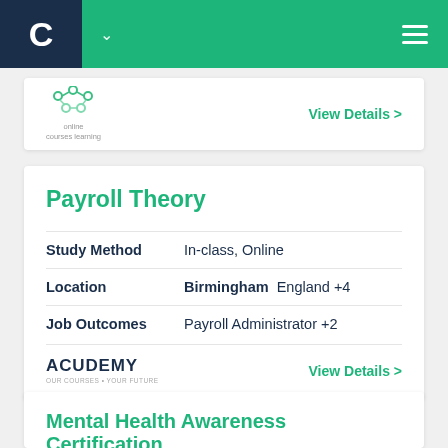C [nav bar with logo and hamburger menu]
[Figure (logo): Online Courses Learning logo with molecule icon and text 'online courses learning']
View Details >
Payroll Theory
Study Method   In-class, Online
Location   Birmingham  England +4
Job Outcomes   Payroll Administrator +2
[Figure (logo): Acudemy logo - OUR COURSES • YOUR FUTURE]
View Details >
Mental Health Awareness Certification